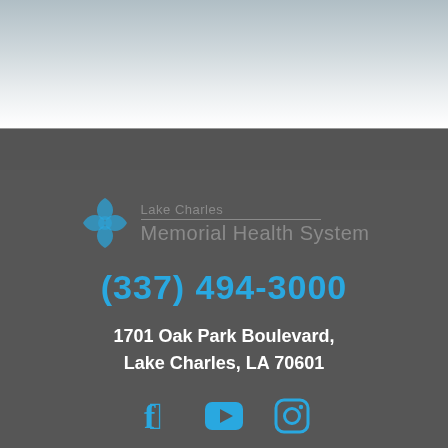[Figure (logo): Lake Charles Memorial Health System logo with teal cross/flower icon and gray text]
(337) 494-3000
1701 Oak Park Boulevard, Lake Charles, LA 70601
[Figure (infographic): Social media icons: Facebook, YouTube, Instagram in teal]
Online Services
Contact Us
Locations